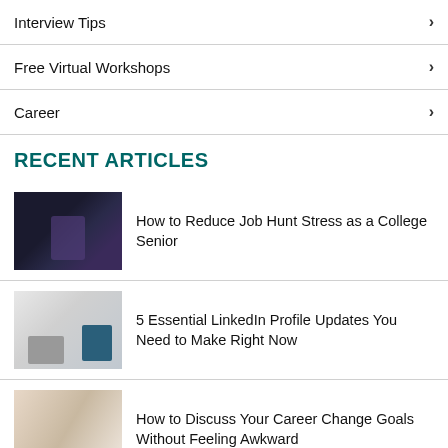Interview Tips
Free Virtual Workshops
Career
RECENT ARTICLES
[Figure (photo): Person sitting in dark room working on laptop with purple glow]
How to Reduce Job Hunt Stress as a College Senior
[Figure (photo): Laptop and coffee cup on white desk with papers]
5 Essential LinkedIn Profile Updates You Need to Make Right Now
[Figure (photo): Two women at a table in conversation, FindSparky watermark]
How to Discuss Your Career Change Goals Without Feeling Awkward
[Figure (photo): Person with teal/blue tones]
How to Make the Most of the Last Spring